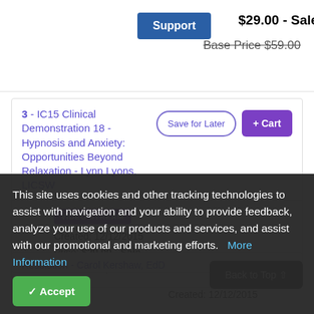Support  $29.00 - Sale  Base Price  $59.00
3 - IC15 Clinical Demonstration 18 - Hypnosis and Anxiety: Opportunities Beyond Relaxation - Lynn Lyons, LICSW
Save for Later  + Cart
VIDEO STREAM  Created: 12/12/2015  Price: $29.00 - Sale  Base Price  $59.00
This site uses cookies and other tracking technologies to assist with navigation and your ability to provide feedback, analyze your use of our products and services, and assist with our promotional and marketing efforts.  More Information
Accept
Resolution - Carol Kershaw, EdD  Created: 12/12/2015
Back to Top